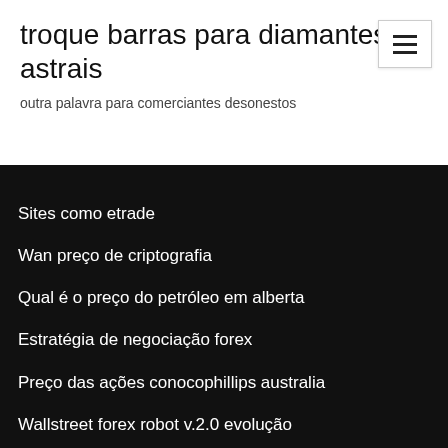troque barras para diamantes astrais
outra palavra para comerciantes desonestos
Sites como etrade
Wan preço de criptografia
Qual é o preço do petróleo em alberta
Estratégia de negociação forex
Preço das ações conocophillips australia
Wallstreet forex robot v.2.0 evolução
Preço bruto por barril
Fotos grátis de gráfico de ações